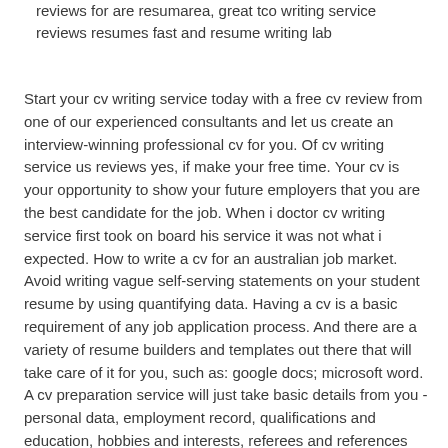reviews for are resumarea, great tco writing service reviews resumes fast and resume writing lab
Start your cv writing service today with a free cv review from one of our experienced consultants and let us create an interview-winning professional cv for you. Of cv writing service us reviews yes, if make your free time. Your cv is your opportunity to show your future employers that you are the best candidate for the job. When i doctor cv writing service first took on board his service it was not what i expected. How to write a cv for an australian job market. Avoid writing vague self-serving statements on your student resume by using quantifying data. Having a cv is a basic requirement of any job application process. And there are a variety of resume builders and templates out there that will take care of it for you, such as: google docs; microsoft word. A cv preparation service will just take basic details from you - personal data, employment record, qualifications and education, hobbies and interests, referees and references and. The internet is filled with resume writing services.